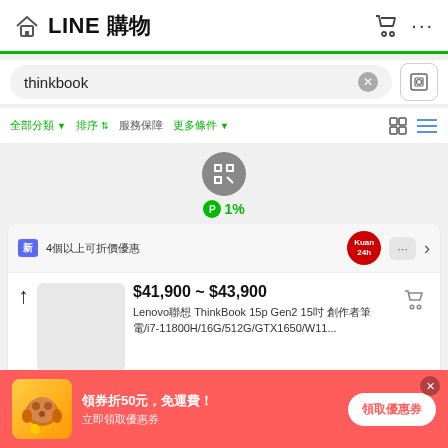LINE 購物
thinkbook
全部分類 ▼  排序 ⇅  服務保障  更多條件 ▼
[Figure (screenshot): Product listing card with scan icon, 1% points badge, badge strip showing '新 4個以上可折價優惠' with 24h logo, product price $41,900 ~ $43,900 and Lenovo ThinkBook 15p Gen2 listing]
$41,900 ~ $43,900
Lenovo聯想 ThinkBook 15p Gen2 15吋 創作者筆電/i7-11800H/16G/512G/GTX1650/W11...
領券折50元，免運費！立即領取優惠券
領取優惠劵